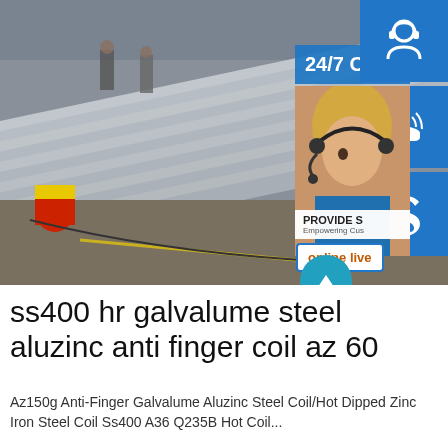[Figure (photo): Warehouse photo showing stacked large steel/galvalume sheets being loaded, with two workers visible in background. Overlaid UI panel on right showing 24/7 customer service text, headset icon, phone icon, Skype icon, 'PROVIDE Empowering Customers' text, and 'online live' button. Teal scroll-up arrow button at bottom right of image.]
ss400 hr galvalume steel aluzinc anti finger coil az 60
Az150g Anti-Finger Galvalume Aluzinc Steel Coil/Hot Dipped Zinc Iron Steel Coil Ss400 A36 Q235B Hot Coil...